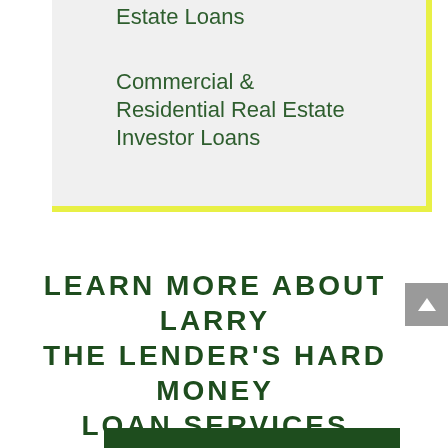Estate Loans
Commercial & Residential Real Estate Investor Loans
LEARN MORE ABOUT LARRY THE LENDER'S HARD MONEY LOAN SERVICES